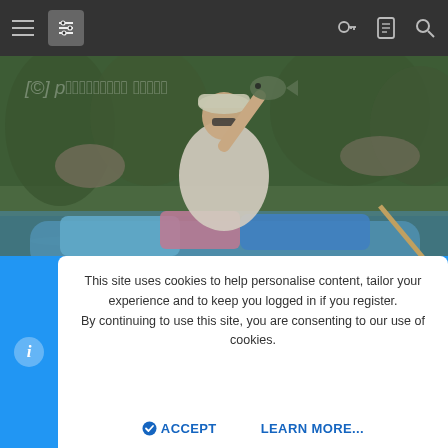Navigation bar with hamburger menu, filter icon, key icon, document icon, and search icon
[Figure (photo): Man in a kayak on a river holding up a bass fish, wearing a white vest and cap with sunglasses. Camping gear and bags visible in the kayak. Green forested riverbank in background. Watermark text partially visible.]
Nice bass eh?
Casting and catching one more I then packed the fishing gear down one last and final time. We cross the portage with ease as
[Figure (photo): Partial image strip visible at bottom of content area]
This site uses cookies to help personalise content, tailor your experience and to keep you logged in if you register.
By continuing to use this site, you are consenting to our use of cookies.
ACCEPT    LEARN MORE...